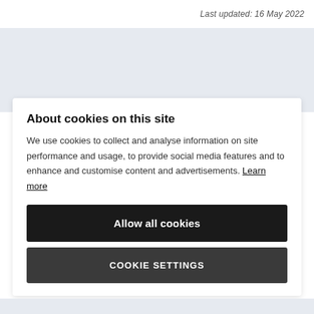Last updated: 16 May 2022
About cookies on this site
We use cookies to collect and analyse information on site performance and usage, to provide social media features and to enhance and customise content and advertisements. Learn more
Allow all cookies
COOKIE SETTINGS